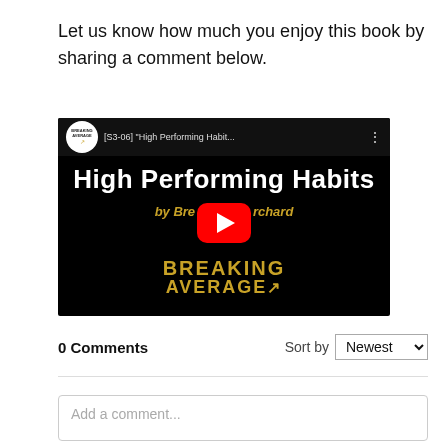Let us know how much you enjoy this book by sharing a comment below.
[Figure (screenshot): YouTube video thumbnail for '[S3-06] "High Performing Habit..." episode showing white text "High Performing Habits" on black background, yellow italic text "by Bre...rchard", YouTube play button overlay, and "BREAKING AVERAGE" logo at bottom. Channel logo with "BREAKING AVERAGE" circular icon at top left.]
0 Comments
Sort by Newest
Add a comment...